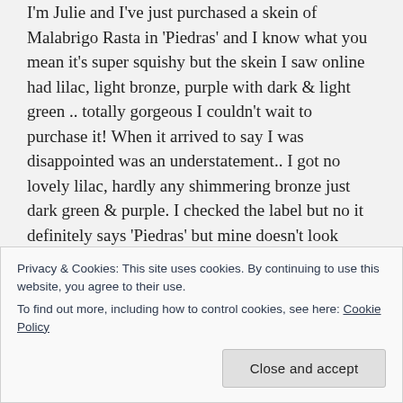I'm Julie and I've just purchased a skein of Malabrigo Rasta in 'Piedras' and I know what you mean it's super squishy but the skein I saw online had lilac, light bronze, purple with dark & light green .. totally gorgeous I couldn't wait to purchase it! When it arrived to say I was disappointed was an understatement.. I got no lovely lilac, hardly any shimmering bronze just dark green & purple. I checked the label but no it definitely says 'Piedras' but mine doesn't look anything like it should!
All very dark greens & dark purples so I'm struggling what to knit but your lovely hat is
Privacy & Cookies: This site uses cookies. By continuing to use this website, you agree to their use.
To find out more, including how to control cookies, see here: Cookie Policy
Close and accept